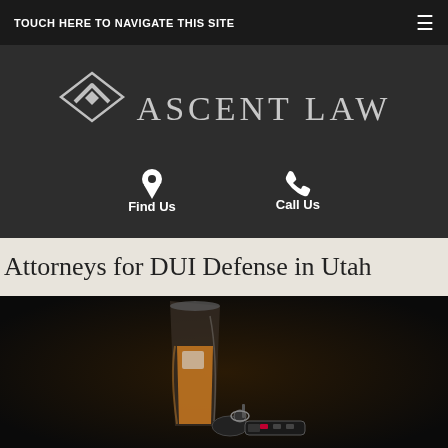TOUCH HERE TO NAVIGATE THIS SITE
[Figure (logo): Ascent Law logo with diamond/chevron icon and text ASCENT LAW in silver on dark background, with Find Us and Call Us contact options below]
Attorneys for DUI Defense in Utah
[Figure (photo): Dark photo of a whiskey glass with ice and car keys on a dark surface, suggesting DUI/drunk driving theme]